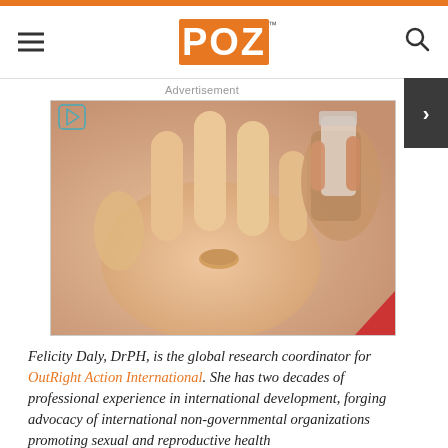POZ
[Figure (photo): A hand with palm open holding a small pill/tablet, with another hand holding a medicine bottle in the background. Advertisement image.]
Felicity Daly, DrPH, is the global research coordinator for OutRight Action International. She has two decades of professional experience in international development, forging advocacy of international non-governmental organizations promoting sexual and reproductive health